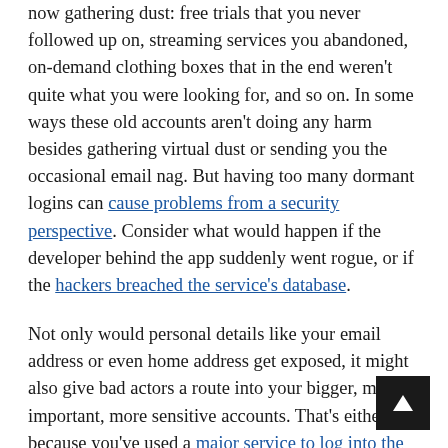now gathering dust: free trials that you never followed up on, streaming services you abandoned, on-demand clothing boxes that in the end weren't quite what you were looking for, and so on. In some ways these old accounts aren't doing any harm besides gathering virtual dust or sending you the occasional email nag. But having too many dormant logins can cause problems from a security perspective. Consider what would happen if the developer behind the app suddenly went rogue, or if the hackers breached the service's database.
Not only would personal details like your email address or even home address get exposed, it might also give bad actors a route into your bigger, more important, more sensitive accounts. That's either because you've used a major service to log into the smaller one, or because you're sharing usernames and passwords between different accounts—something you shouldn't do for this very reason.